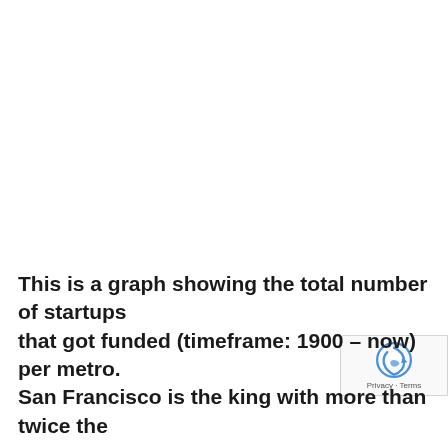This is a graph showing the total number of startups that got funded (timeframe: 1900 – now) per metro. San Francisco is the king with more than twice the